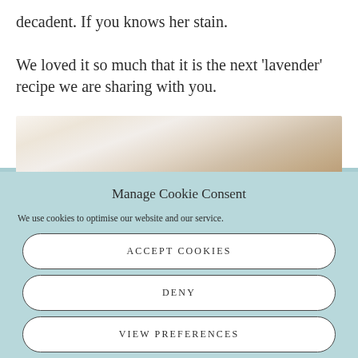decadent. If you knows her stain. We loved it so much that it is the next 'lavender' recipe we are sharing with you.
[Figure (photo): Blurred close-up photograph of baked goods or a food item, with warm beige and cream tones.]
Manage Cookie Consent
We use cookies to optimise our website and our service.
ACCEPT COOKIES
DENY
VIEW PREFERENCES